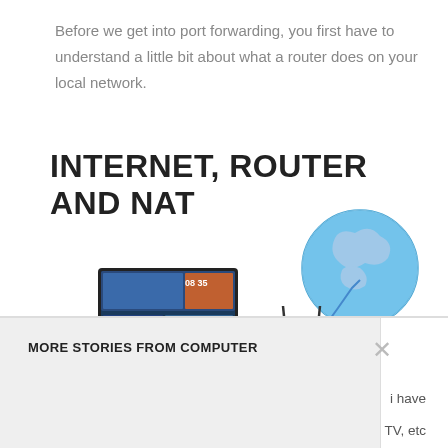Before we get into port forwarding, you first have to understand a little bit about what a router does on your local network.
INTERNET, ROUTER AND NAT
[Figure (illustration): Illustration of a home network showing a wireless router connected to a globe (internet), a desktop monitor, a laptop, a smartphone, a tablet, and a storage device, all linked by blue cables with orange connection dots.]
MORE STORIES FROM COMPUTER
I have
TV, etc